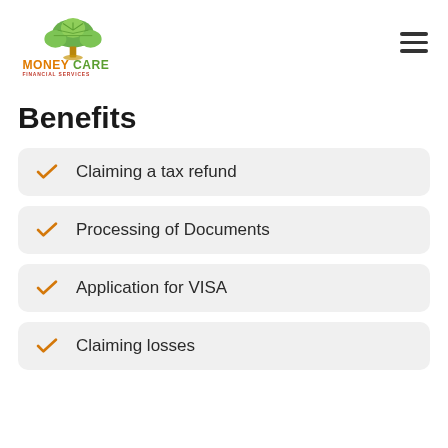[Figure (logo): MoneyCare Financial Services logo with green tree and orange/green text]
Benefits
Claiming a tax refund
Processing of Documents
Application for VISA
Claiming losses